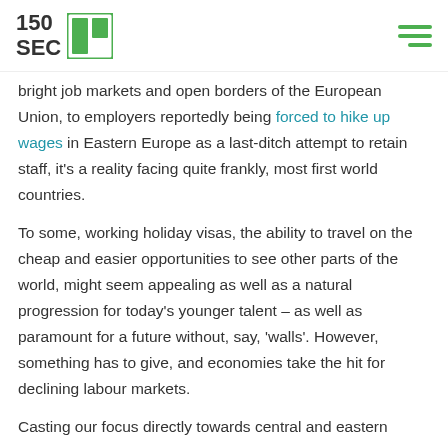150SEC
bright job markets and open borders of the European Union, to employers reportedly being forced to hike up wages in Eastern Europe as a last-ditch attempt to retain staff, it's a reality facing quite frankly, most first world countries.
To some, working holiday visas, the ability to travel on the cheap and easier opportunities to see other parts of the world, might seem appealing as well as a natural progression for today's younger talent – as well as paramount for a future without, say, 'walls'. However, something has to give, and economies take the hit for declining labour markets.
Casting our focus directly towards central and eastern